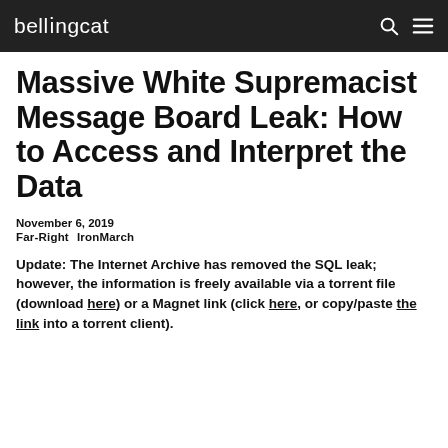bellingcat
Massive White Supremacist Message Board Leak: How to Access and Interpret the Data
November 6, 2019
Far-Right   IronMarch
Update: The Internet Archive has removed the SQL leak; however, the information is freely available via a torrent file (download here) or a Magnet link (click here, or copy/paste the link into a torrent client).